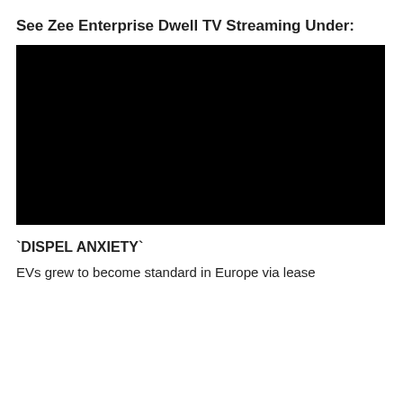See Zee Enterprise Dwell TV Streaming Under:
[Figure (other): Black video player embed area, completely black rectangle representing a video stream placeholder.]
`DISPEL ANXIETY`
EVs grew to become standard in Europe via lease